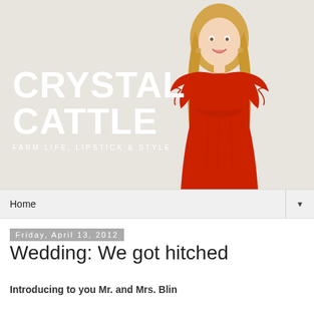[Figure (photo): Website banner for 'Crystal Cattle' blog showing a smiling blonde woman in a red ruffled dress against a light beige background, with the blog name 'CRYSTAL CATTLE' in large white bold text and tagline 'FARM LIFE, LIPSTICK & STYLE' below it]
Home
Friday, April 13, 2012
Wedding: We got hitched
Introducing to you Mr. and Mrs. Blin